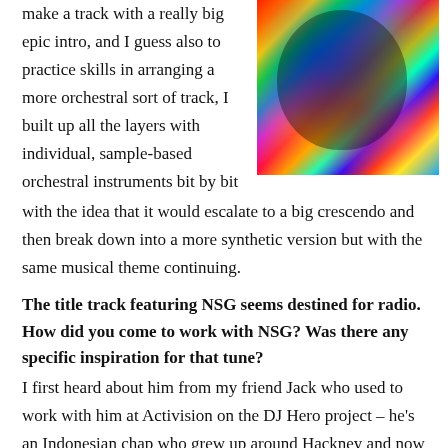make a track with a really big epic intro, and I guess also to practice skills in arranging a more orchestral sort of track, I built up all the layers with individual, sample-based orchestral instruments bit by bit
[Figure (photo): Colorful psychedelic portrait of a face with vivid neon colors — blue, green, red, yellow — on a dark background]
with the idea that it would escalate to a big crescendo and then break down into a more synthetic version but with the same musical theme continuing.
The title track featuring NSG seems destined for radio. How did you come to work with NSG? Was there any specific inspiration for that tune?
I first heard about him from my friend Jack who used to work with him at Activision on the DJ Hero project – he's an Indonesian chap who grew up around Hackney and now he's back over in Indonesia working with his boyband project, and loads of mad stuff for TV. I heard him rapping over a Bart B'more track and made a mental note to hit him up